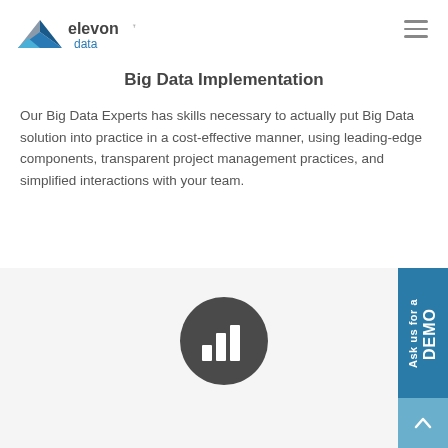[Figure (logo): Elevon Data logo with geometric arrow/triangle shape in blue and gray, text 'elevon data' with TM mark]
Big Data Implementation
Our Big Data Experts has skills necessary to actually put Big Data solution into practice in a cost-effective manner, using leading-edge components, transparent project management practices, and simplified interactions with your team.
[Figure (illustration): Dark gray circle with white bar chart icon inside]
[Figure (other): Teal/blue vertical banner on right side reading 'Ask us for a DEMO' with scroll-up button below]